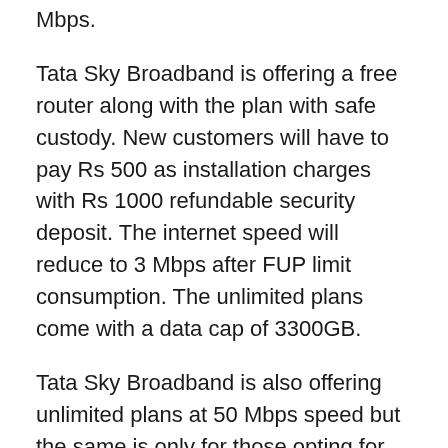Mbps.
Tata Sky Broadband is offering a free router along with the plan with safe custody. New customers will have to pay Rs 500 as installation charges with Rs 1000 refundable security deposit. The internet speed will reduce to 3 Mbps after FUP limit consumption. The unlimited plans come with a data cap of 3300GB.
Tata Sky Broadband is also offering unlimited plans at 50 Mbps speed but the same is only for those opting for long term packages. 100% refundable security deposit will be applicable for 1 month and 50 Mbps plans.